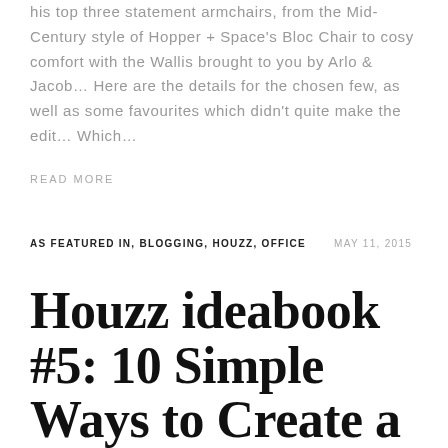his top three statement armchairs, from the Mid-Century style of Hopper + Space's Bloc Chair to cosy comfort with the Wallis brought to you by Arlo & Jacob… Here are the details for the chosen few, as well as some favourites which didn't quite make the edit… Which…
READ MORE
AS FEATURED IN, BLOGGING, HOUZZ, OFFICE   MAY 11, 2015
Houzz ideabook #5: 10 Simple Ways to Create a Work Space on a Budget